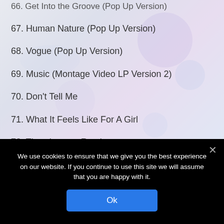66. Get Into the Groove (Pop Up Version)
67. Human Nature (Pop Up Version)
68. Vogue (Pop Up Version)
69. Music (Montage Video LP Version 2)
70. Don't Tell Me
71. What It Feels Like For A Girl
72. Thunderpuss Remix
We use cookies to ensure that we give you the best experience on our website. If you continue to use this site we will assume that you are happy with it.